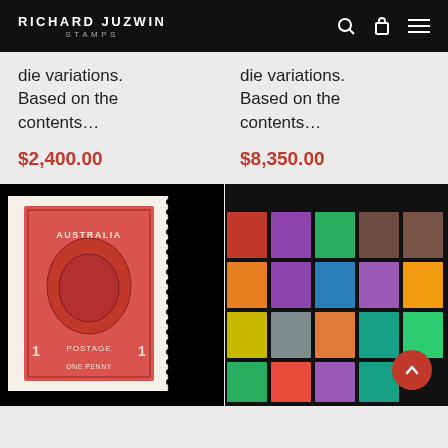RICHARD JUZWIN STAMPS
die variations. Based on the contents…
$2,400.00
die variations. Based on the contents…
$8,350.00
[Figure (photo): Australian 1d One Penny King George V stamp, red/crimson, with margin, perforated right side]
[Figure (photo): Collection of multiple Australian King George V stamp varieties in various colors arranged in a grid on black background]